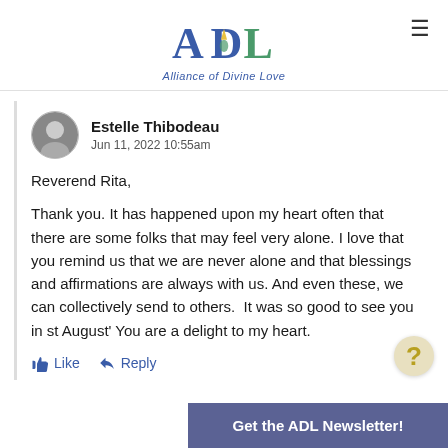[Figure (logo): ADL - Alliance of Divine Love logo with stylized letters A, D, L in blue and green]
Estelle Thibodeau
Jun 11, 2022 10:55am
Reverend Rita,

Thank you. It has happened upon my heart often that there are some folks that may feel very alone. I love that you remind us that we are never alone and that blessings and affirmations are always with us. And even these, we can collectively send to others. It was so good to see you in st August' You are a delight to my heart.
Like   Reply
Get the ADL Newsletter!